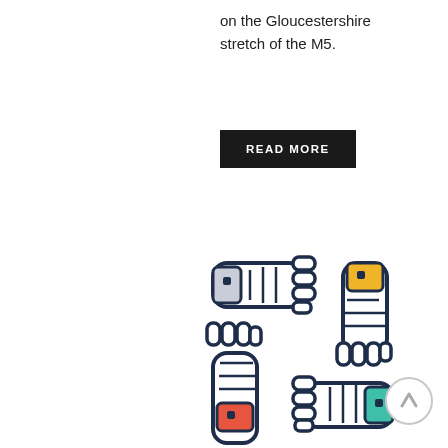on the Gloucestershire stretch of the M5.
READ MORE
[Figure (illustration): Four hands with colorful wristbands (red/orange, teal/green, yellow, light grey) arranged in a square gripping each other's wrists, symbolizing teamwork and unity. Icon/illustration style with dark navy outlines on white background.]
[Figure (other): Circular scroll-to-top button with an upward arrow icon, light grey border on white background.]